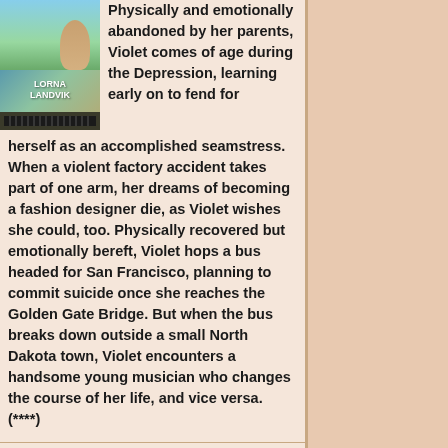[Figure (illustration): Book cover for Lorna Landvik novel showing a woman figure in a field with grass and sky, author name LORNA LANDVIK displayed, with a decorative bottom strip]
Physically and emotionally abandoned by her parents, Violet comes of age during the Depression, learning early on to fend for herself as an accomplished seamstress. When a violent factory accident takes part of one arm, her dreams of becoming a fashion designer die, as Violet wishes she could, too. Physically recovered but emotionally bereft, Violet hops a bus headed for San Francisco, planning to commit suicide once she reaches the Golden Gate Bridge. But when the bus breaks down outside a small North Dakota town, Violet encounters a handsome young musician who changes the course of her life, and vice versa. (****)
[Figure (illustration): Book cover for Winter Garden by Kristin Hannah, showing a winter scene with blue tones and the title 'winter garden' displayed]
Kristin Hannah: Winter Garden
A rich historical...